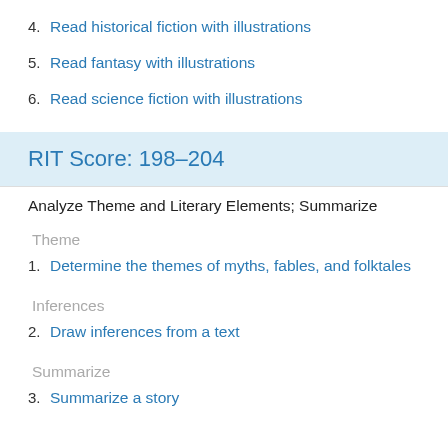4. Read historical fiction with illustrations
5. Read fantasy with illustrations
6. Read science fiction with illustrations
RIT Score: 198–204
Analyze Theme and Literary Elements; Summarize
Theme
1. Determine the themes of myths, fables, and folktales
Inferences
2. Draw inferences from a text
Summarize
3. Summarize a story